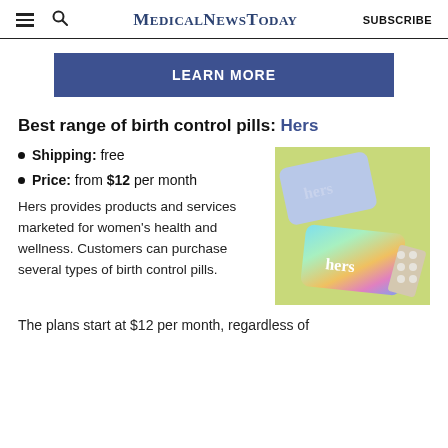MedicalNewsToday | SUBSCRIBE
[Figure (other): LEARN MORE button - blue rectangular button with white bold text]
Best range of birth control pills: Hers
Shipping: free
Price: from $12 per month
[Figure (photo): Photo of Hers branded birth control pill packs on green background - two card-style packages with 'hers' branding, one light blue and one holographic/rainbow colored, with a pill blister pack]
Hers provides products and services marketed for women's health and wellness. Customers can purchase several types of birth control pills.
The plans start at $12 per month, regardless of